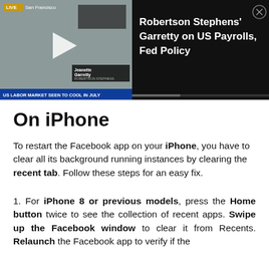[Figure (screenshot): Embedded video player showing Bloomberg TV segment. Left side shows a woman being interviewed with LIVE San Francisco badge, lower third reads 'US LABOR MARKET SEEN TO COOL IN JULY', name tag shows 'Jeanette Garretty - Robertson Stephens Chief Economist'. Right side black panel shows title 'Robertson Stephens' Garretty on US Payrolls, Fed Policy' with a close button.]
On iPhone
To restart the Facebook app on your iPhone, you have to clear all its background running instances by clearing the recent tab. Follow these steps for an easy fix.
1. For iPhone 8 or previous models, press the Home button twice to see the collection of recent apps. Swipe up the Facebook window to clear it from Recents. Relaunch the Facebook app to verify if the